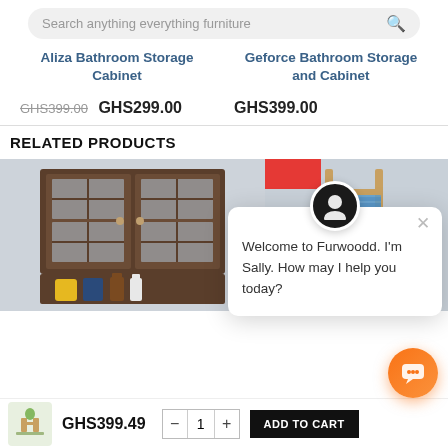[Figure (screenshot): Search bar with placeholder text 'Search anything everything furniture' and magnifying glass icon]
Aliza Bathroom Storage Cabinet
Geforce Bathroom Storage and Cabinet
GHS399.00 (strikethrough) GHS299.00
GHS399.00
RELATED PRODUCTS
[Figure (photo): Photo of a dark brown bathroom wall cabinet with glass doors and open shelf with bottles and containers]
[Figure (photo): Partial photo of a bathroom shelf/ladder with towel, partially obscured]
Welcome to Furwoodd. I'm Sally. How may I help you today?
GHS399.49
ADD TO CART